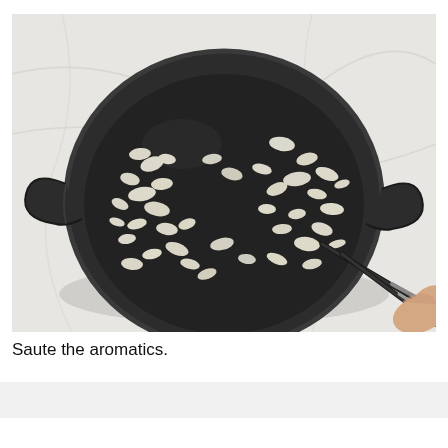[Figure (photo): Overhead view of a dark cast-iron skillet with handles on both sides, containing chopped/minced aromatics (onions/garlic) being stirred with kitchen tongs/chopsticks. The pan sits on a white marble surface with a portable induction burner visible underneath. A hand holds tongs in the lower right.]
Saute the aromatics.